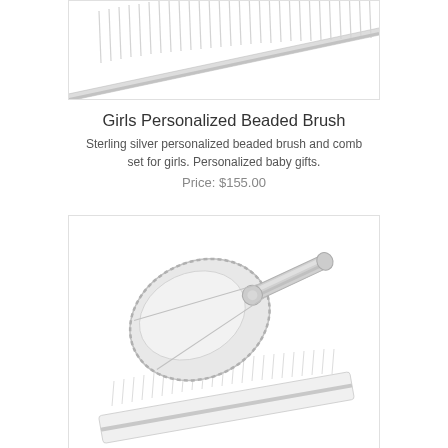[Figure (photo): Top portion of a sterling silver comb, showing the fine teeth of the comb at an angle against a white background.]
Girls Personalized Beaded Brush
Sterling silver personalized beaded brush and comb set for girls. Personalized baby gifts.
Price: $155.00
[Figure (photo): Sterling silver personalized beaded brush and comb set. The brush is shown face-down displaying its silver back with ornate decorative handle, resting on top of a white comb, against a white background.]